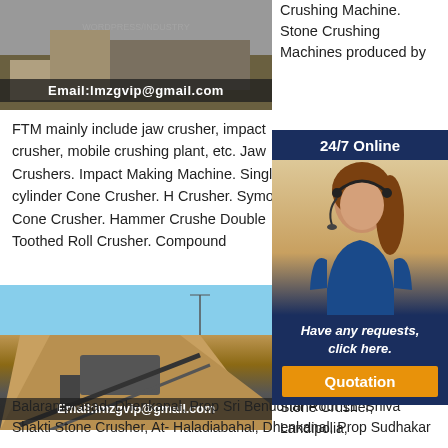[Figure (photo): Industrial machinery/equipment photo with email overlay: Email:lmzgvip@gmail.com]
Crushing Machine. Stone Crushing Machines produced by
FTM mainly include jaw crusher, impact crusher, mobile crushing plant, etc. Jaw Crushers. Impact Making Machine. Single-cylinder Cone Crusher. H Crusher. Symons Cone Crusher. Hammer Crusher Double Toothed Roll Crusher. Compound
[Figure (photo): Stone crusher plant with large pile of aggregate and conveyor belts against blue sky. Email:lmzgvip@gmail.com overlay.]
[Figure (infographic): 24/7 Online popup with customer service representative photo, 'Have any requests, click here.' message, and Quotation button]
STATE BOARD, ORISSA
2021-6-4 · 10. Rout Stone Crusher, Landipolia,
Balaramprasad, Dhenkanal, Prop Sri Benudhar Rout 11. Shiva Shakti Stone Crusher, At- Haladiabahal, Dhenkanal, Prop Sudhakar